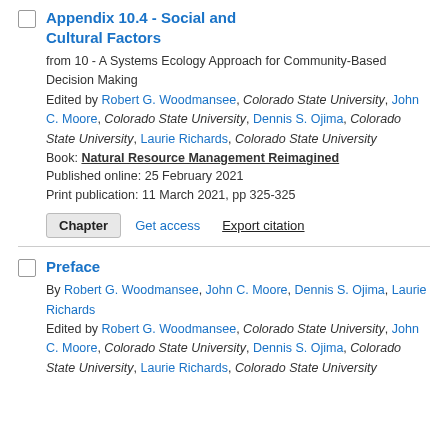Appendix 10.4 - Social and Cultural Factors
from 10 - A Systems Ecology Approach for Community-Based Decision Making
Edited by Robert G. Woodmansee, Colorado State University, John C. Moore, Colorado State University, Dennis S. Ojima, Colorado State University, Laurie Richards, Colorado State University
Book: Natural Resource Management Reimagined
Published online: 25 February 2021
Print publication: 11 March 2021, pp 325-325
Chapter | Get access | Export citation
Preface
By Robert G. Woodmansee, John C. Moore, Dennis S. Ojima, Laurie Richards
Edited by Robert G. Woodmansee, Colorado State University, John C. Moore, Colorado State University, Dennis S. Ojima, Colorado State University, Laurie Richards, Colorado State University